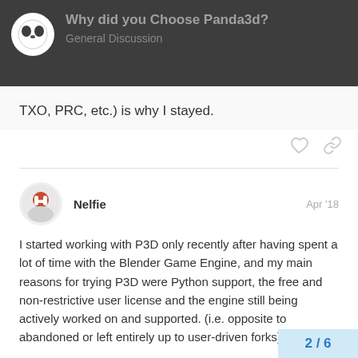Why did you Choose Panda3d? — General Discussion
TXO, PRC, etc.) is why I stayed.
Nelfie  Apr '18
I started working with P3D only recently after having spent a lot of time with the Blender Game Engine, and my main reasons for trying P3D were Python support, the free and non-restrictive user license and the engine still being actively worked on and supported. (i.e. opposite to abandoned or left entirely up to user-driven forks)
Python was mainly important to me because it's the only language I've know well enough to use fluently, as well as the wealth and ease with which external libraries and integrate them in
2 / 6